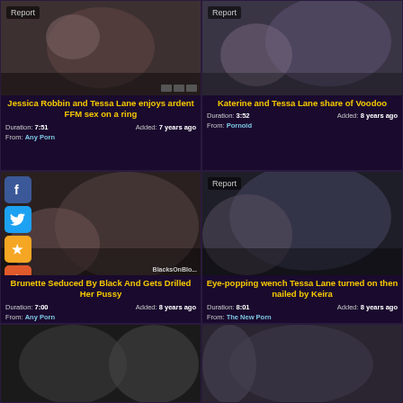[Figure (screenshot): Adult video thumbnail grid showing 4 video cards with thumbnails, titles, duration, and metadata. Social media share buttons (Facebook, Twitter, Star, Plus) overlay the third card. Two partial thumbnails visible at bottom.]
Jessica Robbin and Tessa Lane enjoys ardent FFM sex on a ring
Duration: 7:51   Added: 7 years ago   From: Any Porn
Katerine and Tessa Lane share of Voodoo
Duration: 3:52   Added: 8 years ago   From: Pornoid
Brunette Seduced By Black And Gets Drilled Her Pussy
Duration: 7:00   Added: 8 years ago   From: Any Porn
Eye-popping wench Tessa Lane turned on then nailed by Keira
Duration: 8:01   Added: 8 years ago   From: The New Porn